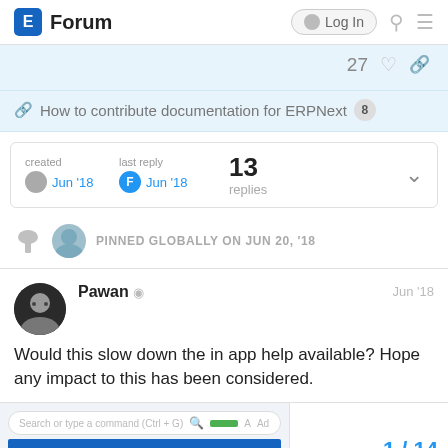E Forum | Log In
27
How to contribute documentation for ERPNext 8
| created | last reply | 13 replies |
| --- | --- | --- |
| Jun '18 | F Jun '18 | 13 replies |
PINNED GLOBALLY ON JUN 20, '18
Pawan Jun '18
Would this slow down the in app help available? Hope any impact to this has been considered.
1 / 14